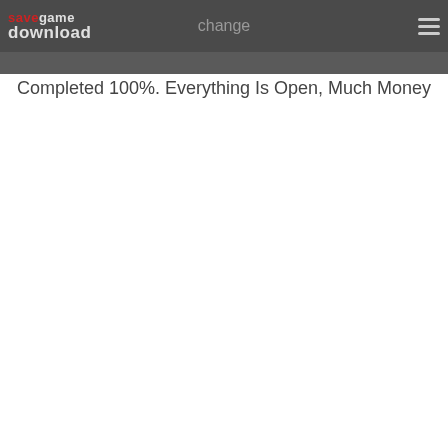savegame download | change
Completed 100%. Everything Is Open, Much Money